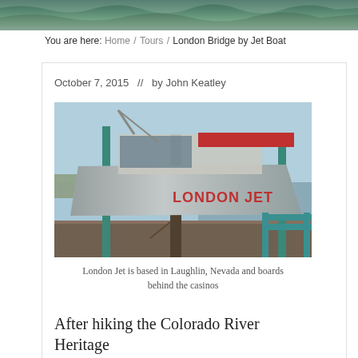[Figure (photo): Top banner image showing water/ocean waves in teal and green tones]
You are here: Home / Tours / London Bridge by Jet Boat
[Figure (photo): Photo of the London Jet boat docked at a marina in Laughlin, Nevada. The boat is silver/metallic with 'LONDON JET' written in red lettering on its side. Teal/blue dock railings and posts are visible, along with a wooden dock and clear blue sky.]
London Jet is based in Laughlin, Nevada and boards behind the casinos
After hiking the Colorado River Heritage